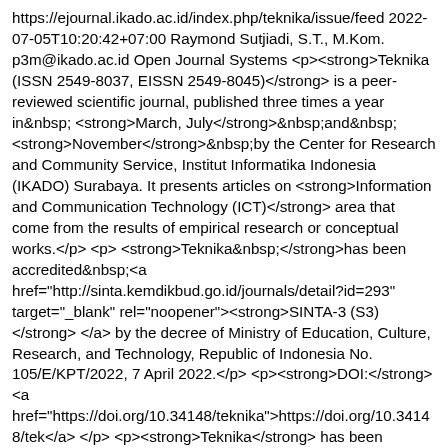https://ejournal.ikado.ac.id/index.php/teknika/issue/feed 2022-07-05T10:20:42+07:00 Raymond Sutjiadi, S.T., M.Kom. p3m@ikado.ac.id Open Journal Systems <p><strong>Teknika (ISSN 2549-8037, EISSN 2549-8045)</strong> is a peer-reviewed scientific journal, published three times a year in&nbsp;<strong>March, July</strong>&nbsp;and&nbsp;<strong>November</strong>&nbsp;by the Center for Research and Community Service, Institut Informatika Indonesia (IKADO) Surabaya. It presents articles on <strong>Information and Communication Technology (ICT)</strong> area that come from the results of empirical research or conceptual works.</p> <p><strong>Teknika&nbsp;</strong>has been accredited&nbsp;<a href="http://sinta.kemdikbud.go.id/journals/detail?id=293" target="_blank" rel="noopener"><strong>SINTA-3 (S3)</strong></a> by the decree of Ministry of Education, Culture, Research, and Technology, Republic of Indonesia No. 105/E/KPT/2022, 7 April 2022.</p> <p><strong>DOI:</strong> <a href="https://doi.org/10.34148/teknika">https://doi.org/10.34148/tek</a></p> <p><strong>Teknika</strong> has been indexed in:<br><a href="https://search.crossref.org/?q=teknika&amp;publisher-name=Institut+Informatika+Indonesia+Surabaya&amp;container-title=Teknika" target="_blank" rel="noopener">Crossref</a><br><a href="https://doaj.org/toc/2549-8045" target="_blank" rel="noopener">Directory of Open Access Journals (DOAJ)<br></a><a href="https://journals.indexcopernicus.com/search/details?